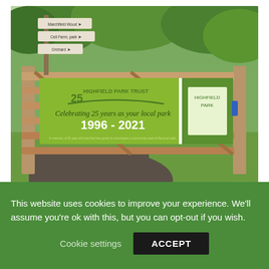[Figure (photo): Photograph of a wooden gate with a green banner reading 'Highfield Park Trust - Celebrating 25 years as your local park 1996-2021'. A directional sign post is visible on the left, and a park entrance sign on the right. Green trees and grass are in the background.]
Highlight
If you wish to to make a
This website uses cookies to improve your experience. We'll assume you're ok with this, but you can opt-out if you wish.
Cookie settings   ACCEPT